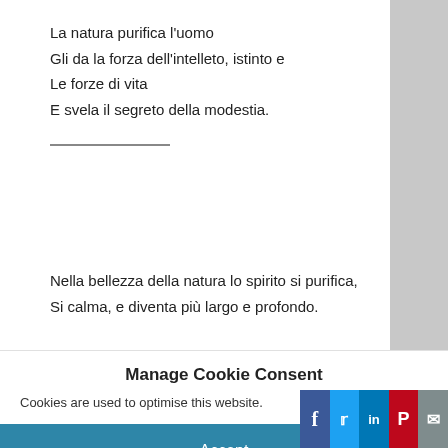La natura purifica l'uomo
Gli da la forza dell'intelleto, istinto e
Le forze di vita
E svela il segreto della modestia.
Nella bellezza della natura lo spirito si purifica,
Si calma, e diventa più largo e profondo.
Manage Cookie Consent
Cookies are used to optimise this website.
Accept
Deny